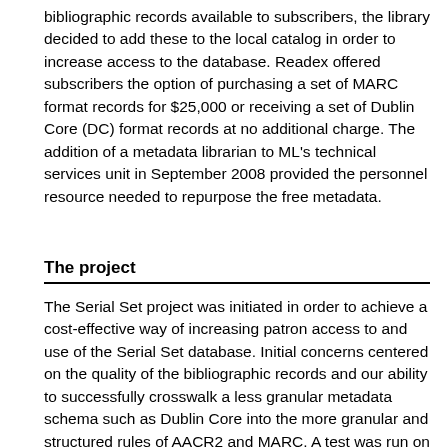bibliographic records available to subscribers, the library decided to add these to the local catalog in order to increase access to the database. Readex offered subscribers the option of purchasing a set of MARC format records for $25,000 or receiving a set of Dublin Core (DC) format records at no additional charge. The addition of a metadata librarian to ML's technical services unit in September 2008 provided the personnel resource needed to repurpose the free metadata.
The project
The Serial Set project was initiated in order to achieve a cost-effective way of increasing patron access to and use of the Serial Set database. Initial concerns centered on the quality of the bibliographic records and our ability to successfully crosswalk a less granular metadata schema such as Dublin Core into the more granular and structured rules of AACR2 and MARC. A test was run on a small set of records; the data was collected, crosswalked and then loaded into the library's test database. The results were